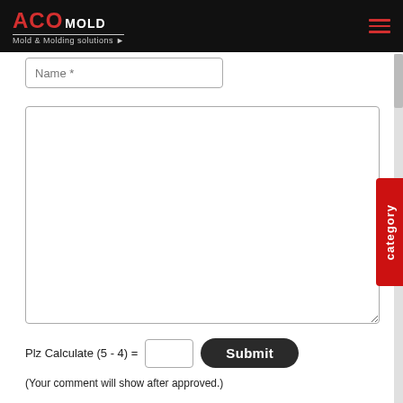ACO MOLD - Mold & Molding solutions
Name *
category
Plz Calculate (5 - 4) =
(Your comment will show after approved.)